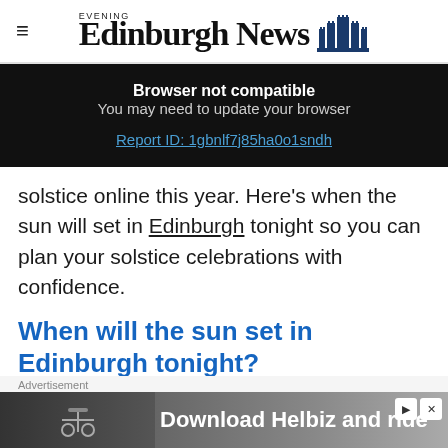Edinburgh Evening News
[Figure (screenshot): Browser not compatible warning banner on dark background. Text: 'Browser not compatible', 'You may need to update your browser', 'Report ID: 1gbnlf7j85ha0o1sndh']
solstice online this year. Here's when the sun will set in Edinburgh tonight so you can plan your solstice celebrations with confidence.
When will the sun set in Edinburgh tonight?
[Figure (screenshot): Advertisement banner: Download Helbiz and ride, with bicycle image and play/close controls]